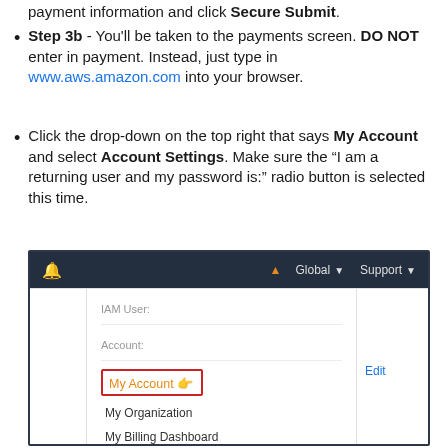payment information and click Secure Submit.
Step 3b - You'll be taken to the payments screen. DO NOT enter in payment. Instead, just type in www.aws.amazon.com into your browser.
Click the drop-down on the top right that says My Account and select Account Settings. Make sure the “I am a returning user and my password is:” radio button is selected this time.
[Figure (screenshot): AWS Management Console dropdown menu screenshot showing navigation bar with bell icon, Global and Support dropdowns, and a dropdown panel with IAM User, Account, My Account (highlighted in red box with cursor), My Organization, My Billing Dashboard, and Edit link.]